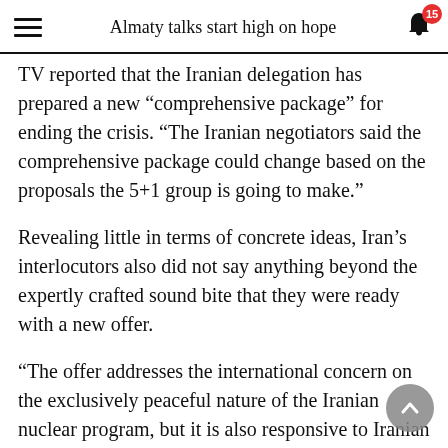Almaty talks start high on hope
TV reported that the Iranian delegation has prepared a new “comprehensive package” for ending the crisis. “The Iranian negotiators said the comprehensive package could change based on the proposals the 5+1 group is going to make.”
Revealing little in terms of concrete ideas, Iran’s interlocutors also did not say anything beyond the expertly crafted sound bite that they were ready with a new offer.
“The offer addresses the international concern on the exclusively peaceful nature of the Iranian nuclear program, but it is also responsive to Iranian ideas,’’ said European Union (EU) spokesman Michael Mann. “We’ve